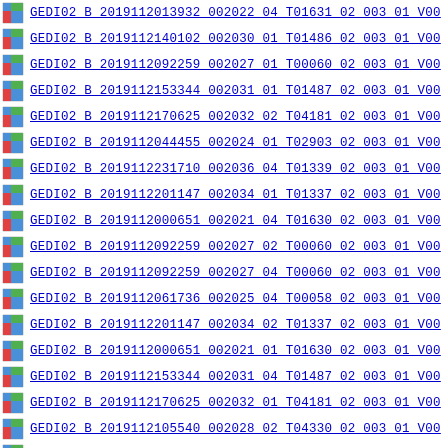GEDI02_B_2019112013932_002022_04_T01631_02_003_01_V00
GEDI02_B_2019112140102_002030_01_T01486_02_003_01_V00
GEDI02_B_2019112092259_002027_01_T00060_02_003_01_V00
GEDI02_B_2019112153344_002031_01_T01487_02_003_01_V00
GEDI02_B_2019112170625_002032_02_T04181_02_003_01_V00
GEDI02_B_2019112044455_002024_01_T02903_02_003_01_V00
GEDI02_B_2019112231710_002036_04_T01339_02_003_01_V00
GEDI02_B_2019112201147_002034_01_T01337_02_003_01_V00
GEDI02_B_2019112000651_002021_04_T01630_02_003_01_V00
GEDI02_B_2019112092259_002027_02_T00060_02_003_01_V00
GEDI02_B_2019112092259_002027_04_T00060_02_003_01_V00
GEDI02_B_2019112061736_002025_04_T00058_02_003_01_V00
GEDI02_B_2019112201147_002034_02_T01337_02_003_01_V00
GEDI02_B_2019112000651_002021_01_T01630_02_003_01_V00
GEDI02_B_2019112153344_002031_04_T01487_02_003_01_V00
GEDI02_B_2019112170625_002032_01_T04181_02_003_01_V00
GEDI02_B_2019112105540_002028_02_T04330_02_003_01_V00
GEDI02_B_2019112075017_002026_01_T00059_02_003_01_V00